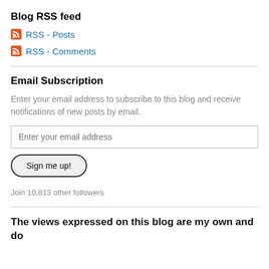Blog RSS feed
RSS - Posts
RSS - Comments
Email Subscription
Enter your email address to subscribe to this blog and receive notifications of new posts by email.
Enter your email address
Sign me up!
Join 10,813 other followers
The views expressed on this blog are my own and do